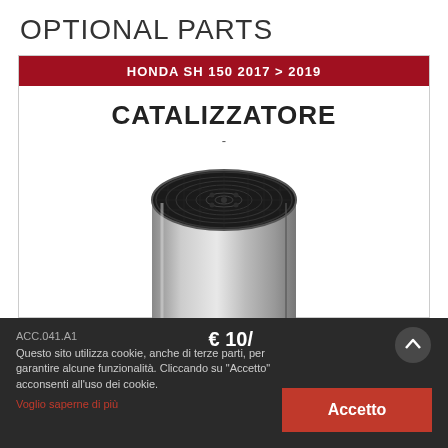OPTIONAL PARTS
HONDA SH 150 2017 > 2019
CATALIZZATORE
-
[Figure (photo): A cylindrical catalytic converter with a silver metallic body and black honeycomb mesh top face, viewed from slightly above]
ACC.041.A1
€ 10/
Questo sito utilizza cookie, anche di terze parti, per garantire alcune funzionalità. Cliccando su "Accetto" acconsenti all'uso dei cookie.
Voglio saperne di più
Accetto